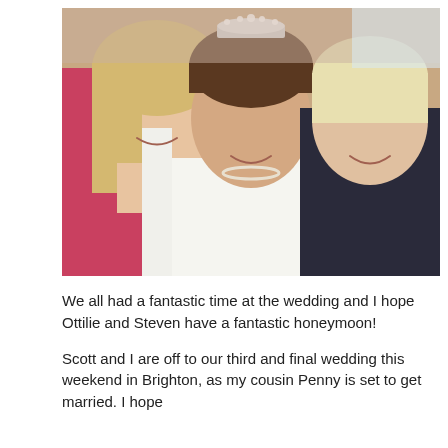[Figure (photo): A selfie photo of three smiling women. The woman on the left wears a red/pink top and has long blonde hair. The woman in the center is a bride wearing a white strapless dress, pearl necklace, and a sparkling tiara. The woman on the right has short blonde hair and wears a dark outfit.]
We all had a fantastic time at the wedding and I hope Ottilie and Steven have a fantastic honeymoon!
Scott and I are off to our third and final wedding this weekend in Brighton, as my cousin Penny is set to get married. I hope